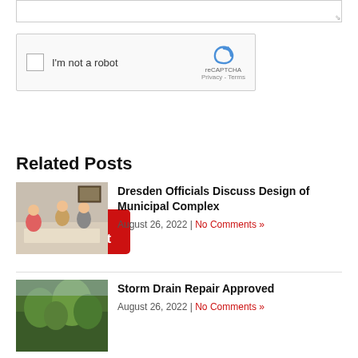[Figure (screenshot): Textarea input box with resize handle at bottom right]
[Figure (screenshot): reCAPTCHA widget with checkbox labeled 'I'm not a robot' and reCAPTCHA logo with Privacy and Terms links]
Submit Comment
Related Posts
[Figure (photo): Photo of Dresden officials gathered around a table reviewing documents in an office setting]
Dresden Officials Discuss Design of Municipal Complex
August 26, 2022 | No Comments »
[Figure (photo): Photo of trees and storm drain area outdoors]
Storm Drain Repair Approved
August 26, 2022 | No Comments »